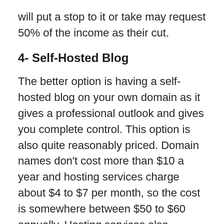will put a stop to it or take may request 50% of the income as their cut.
4- Self-Hosted Blog
The better option is having a self-hosted blog on your own domain as it gives a professional outlook and gives you complete control. This option is also quite reasonably priced. Domain names don’t cost more than $10 a year and hosting services charge about $4 to $7 per month, so the cost is somewhere between $50 to $60 annually. Hosting services also provide money back guarantees if they don’t meet your standards.